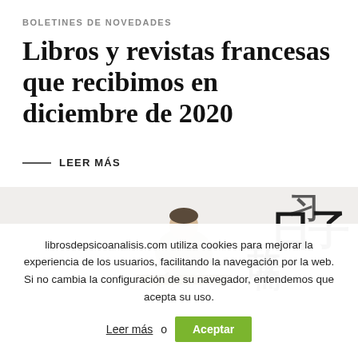BOLETINES DE NOVEDADES
Libros y revistas francesas que recibimos en diciembre de 2020
LEER MÁS
[Figure (illustration): Illustration of a person in grey clothing writing or drawing at a desk, with large Chinese/Japanese characters visible to the right.]
librosdepsicoanalisis.com utiliza cookies para mejorar la experiencia de los usuarios, facilitando la navegación por la web. Si no cambia la configuración de su navegador, entendemos que acepta su uso.
Leer más o Aceptar